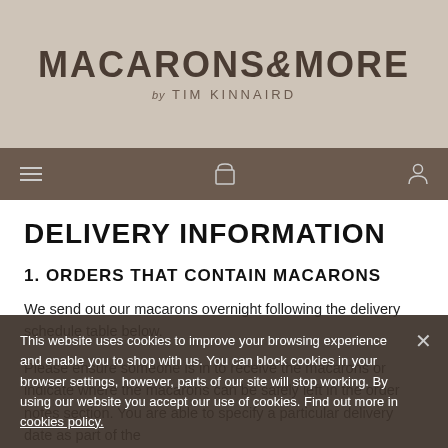MACARONS & MORE by TIM KINNAIRD
DELIVERY INFORMATION
1. ORDERS THAT CONTAIN MACARONS
We send out our macarons overnight following the delivery schedule table below.
Please ensure someone is in to receive the macarons or indicate where the macarons can be safely left in the order notes section. You are able to specify a particular delivery date as part of the
This website uses cookies to improve your browsing experience and enable you to shop with us. You can block cookies in your browser settings, however, parts of our site will stop working. By using our website you accept our use of cookies. Find out more in cookies policy.